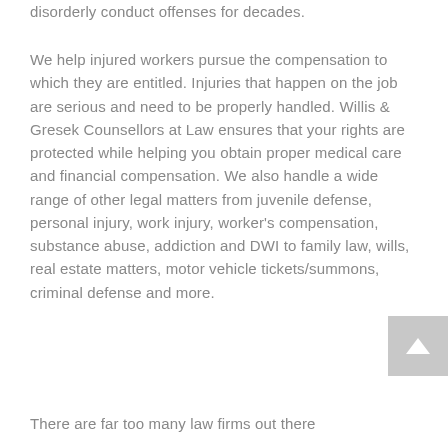disorderly conduct offenses for decades.
We help injured workers pursue the compensation to which they are entitled. Injuries that happen on the job are serious and need to be properly handled. Willis & Gresek Counsellors at Law ensures that your rights are protected while helping you obtain proper medical care and financial compensation. We also handle a wide range of other legal matters from juvenile defense, personal injury, work injury, worker's compensation, substance abuse, addiction and DWI to family law, wills, real estate matters, motor vehicle tickets/summons, criminal defense and more.
There are far too many law firms out there